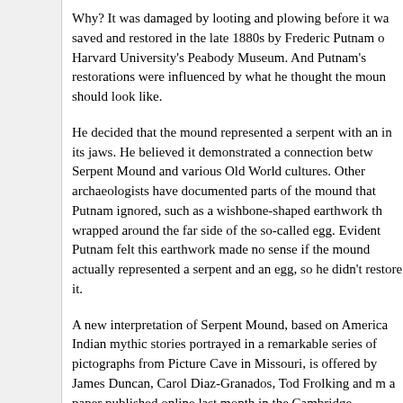Why? It was damaged by looting and plowing before it was saved and restored in the late 1880s by Frederic Putnam of Harvard University's Peabody Museum. And Putnam's restorations were influenced by what he thought the mound should look like.
He decided that the mound represented a serpent with an in its jaws. He believed it demonstrated a connection between Serpent Mound and various Old World cultures. Other archaeologists have documented parts of the mound that Putnam ignored, such as a wishbone-shaped earthwork that wrapped around the far side of the so-called egg. Evidently Putnam felt this earthwork made no sense if the mound actually represented a serpent and an egg, so he didn't restore it.
A new interpretation of Serpent Mound, based on American Indian mythic stories portrayed in a remarkable series of pictographs from Picture Cave in Missouri, is offered by James Duncan, Carol Diaz-Granados, Tod Frolking and m a paper published online last month in the Cambridge Archaeological Journal. We argue that images of serpents and other supernatural beings on the walls of Picture Cave help us make sense of those parts of Serpent Mound that weren't restored.